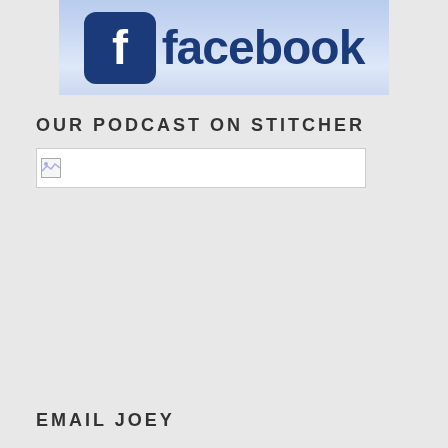[Figure (logo): Facebook logo banner with blue Facebook icon and 'facebook' text in dark blue on a light blue gradient background]
OUR PODCAST ON STITCHER
[Figure (other): Broken/missing image placeholder for Stitcher podcast banner]
EMAIL JOEY